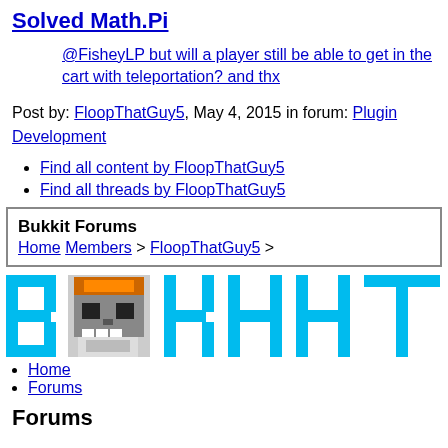Solved Math.Pi
@FisheyLP but will a player still be able to get in the cart with teleportation? and thx
Post by: FloopThatGuy5, May 4, 2015 in forum: Plugin Development
Find all content by FloopThatGuy5
Find all threads by FloopThatGuy5
Bukkit Forums Home Members > FloopThatGuy5 >
[Figure (logo): Bukkit Forums logo with cyan block letters B, K, H, I, T and a Minecraft-style skull/helmet character in place of the O]
Home
Forums
Forums